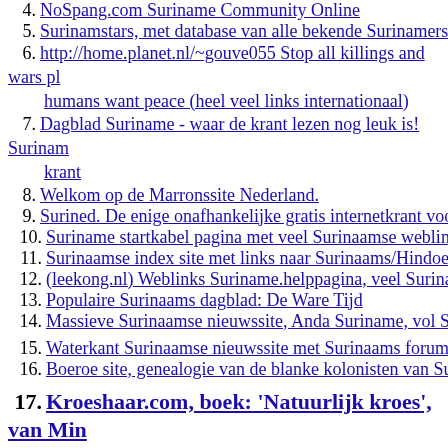4. NoSpang.com Suriname Community Online
5. Surinamstars, met database van alle bekende Surinamers online
6. http://home.planet.nl/~gouve055 Stop all killings and wars please, humans want peace (heel veel links internationaal)
7. Dagblad Suriname - waar de krant lezen nog leuk is! Surinaamse krant
8. Welkom op de Marronssite Nederland.
9. Surined. De enige onafhankelijke gratis internetkrant voor Su...
10. Suriname startkabel pagina met veel Surinaamse weblinks
11. Surinaamse index site met links naar Surinaams/Hindoestaans...
12. (leekong.nl) Weblinks Suriname.helppagina, veel Surinaamse...
13. Populaire Surinaams dagblad: De Ware Tijd
14. Massieve Surinaamse nieuwssite, Anda Suriname, vol Surina...
15. Waterkant Surinaamse nieuwssite met Surinaams forum
16. Boeroe site, genealogie van de blanke kolonisten van Surinam...
17. Kroeshaar.com, boek: 'Natuurlijk kroes', van Min A-Kong, veel mooie foto's
Africa links and newspapers online
1. African Holocaust http://www.africanholocaust.net
2. ...